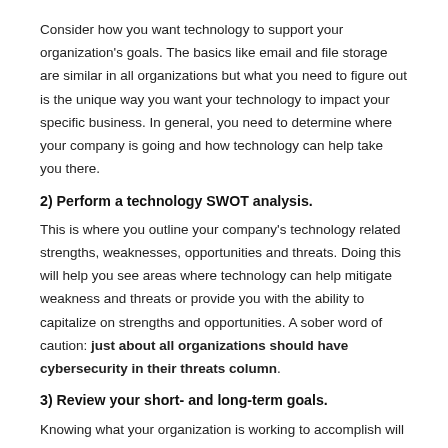Consider how you want technology to support your organization's goals. The basics like email and file storage are similar in all organizations but what you need to figure out is the unique way you want your technology to impact your specific business. In general, you need to determine where your company is going and how technology can help take you there.
2) Perform a technology SWOT analysis.
This is where you outline your company's technology related strengths, weaknesses, opportunities and threats. Doing this will help you see areas where technology can help mitigate weakness and threats or provide you with the ability to capitalize on strengths and opportunities. A sober word of caution: just about all organizations should have cybersecurity in their threats column.
3) Review your short- and long-term goals.
Knowing what your organization is working to accomplish will